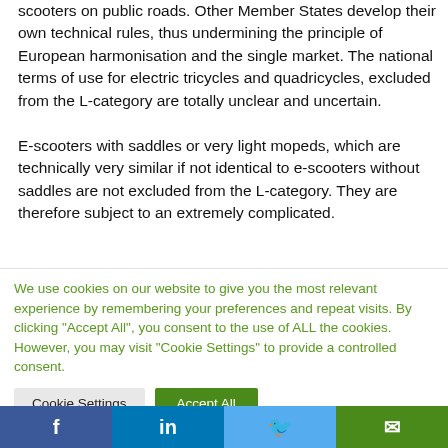States, such as the Netherlands and the UK, still forbid scooters on public roads. Other Member States develop their own technical rules, thus undermining the principle of European harmonisation and the single market. The national terms of use for electric tricycles and quadricycles, excluded from the L-category are totally unclear and uncertain.

E-scooters with saddles or very light mopeds, which are technically very similar if not identical to e-scooters without saddles are not excluded from the L-category. They are therefore subject to an extremely complicated.
We use cookies on our website to give you the most relevant experience by remembering your preferences and repeat visits. By clicking "Accept All", you consent to the use of ALL the cookies. However, you may visit "Cookie Settings" to provide a controlled consent.